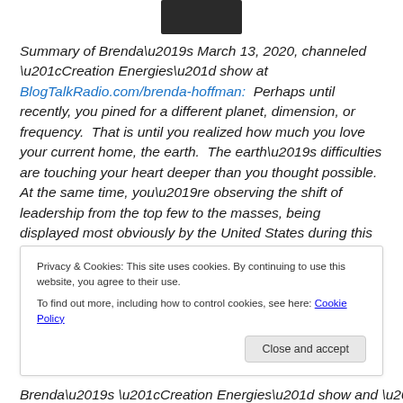[Figure (photo): Partial photo of a person in dark clothing, cropped at top of page]
Summary of Brenda’s March 13, 2020, channeled “Creation Energies” show at BlogTalkRadio.com/brenda-hoffman:  Perhaps until recently, you pined for a different planet, dimension, or frequency.  That is until you realized how much you love your current home, the earth.  The earth’s difficulties are touching your heart deeper than you thought possible.  At the same time, you’re observing the shift of leadership from the top few to the masses, being displayed most obviously by the United States during this
Privacy & Cookies: This site uses cookies. By continuing to use this website, you agree to their use.
To find out more, including how to control cookies, see here: Cookie Policy
Close and accept
Brenda’s “Creation Energies” show and “Brenda’s Blog”